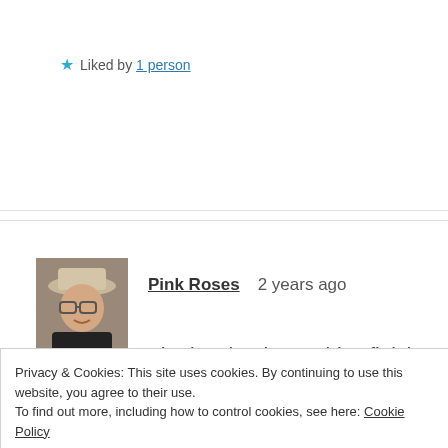★ Liked by 1 person
[Figure (photo): Avatar photo of a person wearing a hat, dark clothing, outdoors]
Pink Roses   2 years ago
The last book I couldn't finish was The Blood in the Water by Gillian Galbraith. It just did not hold my
Privacy & Cookies: This site uses cookies. By continuing to use this website, you agree to their use.
To find out more, including how to control cookies, see here: Cookie Policy
Close and accept